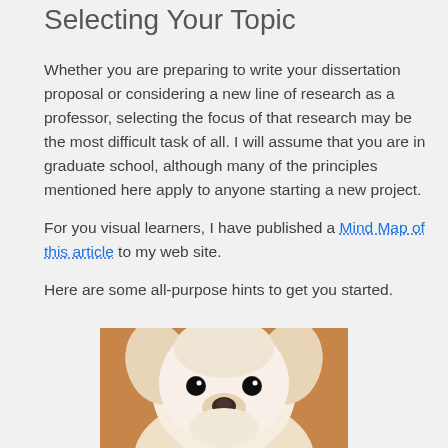Selecting Your Topic
Whether you are preparing to write your dissertation proposal or considering a new line of research as a professor, selecting the focus of that research may be the most difficult task of all. I will assume that you are in graduate school, although many of the principles mentioned here apply to anyone starting a new project.
For you visual learners, I have published a Mind Map of this article to my web site.
Here are some all-purpose hints to get you started.
[Figure (photo): Close-up photo of a small white fluffy dog (appears to be a Maltese or similar breed) looking at the camera]